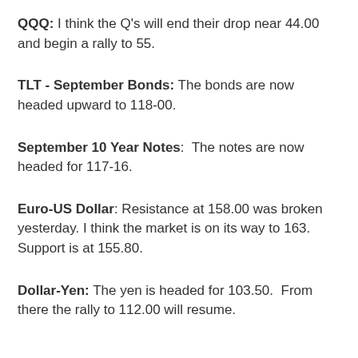QQQ: I think the Q's will end their drop near 44.00 and begin a rally to 55.
TLT - September Bonds: The bonds are now headed upward to 118-00.
September 10 Year Notes: The notes are now headed for 117-16.
Euro-US Dollar: Resistance at 158.00 was broken yesterday. I think the market is on its way to 163. Support is at 155.80.
Dollar-Yen: The yen is headed for 103.50. From there the rally to 112.00 will resume.